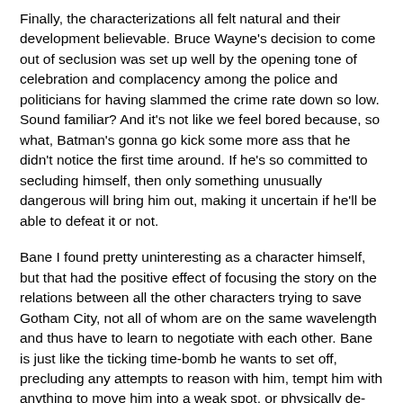Finally, the characterizations all felt natural and their development believable. Bruce Wayne's decision to come out of seclusion was set up well by the opening tone of celebration and complacency among the police and politicians for having slammed the crime rate down so low. Sound familiar? And it's not like we feel bored because, so what, Batman's gonna go kick some more ass that he didn't notice the first time around. If he's so committed to secluding himself, then only something unusually dangerous will bring him out, making it uncertain if he'll be able to defeat it or not.
Bane I found pretty uninteresting as a character himself, but that had the positive effect of focusing the story on the relations between all the other characters trying to save Gotham City, not all of whom are on the same wavelength and thus have to learn to negotiate with each other. Bane is just like the ticking time-bomb he wants to set off, precluding any attempts to reason with him, tempt him with anything to move him into a weak spot, or physically de-fuse him.
Miranda Tate was hard to understand at first. I thought she